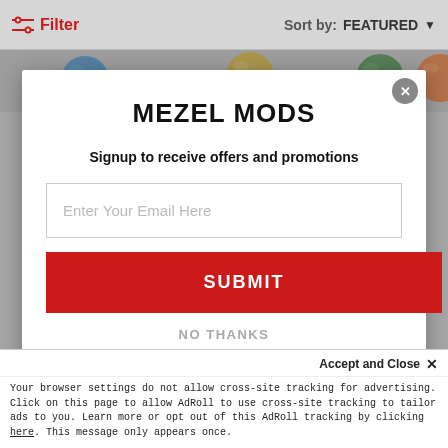Filter  |  Sort by: FEATURED
[Figure (photo): Colored M&M candy balls (blue, yellow/gold, green, orange) visible at top of page behind modal]
MEZEL MODS
Signup to receive offers and promotions
Enter Your Email Here
SUBMIT
NO THANKS
Accept and Close ✕
Your browser settings do not allow cross-site tracking for advertising. Click on this page to allow AdRoll to use cross-site tracking to tailor ads to you. Learn more or opt out of this AdRoll tracking by clicking here. This message only appears once.